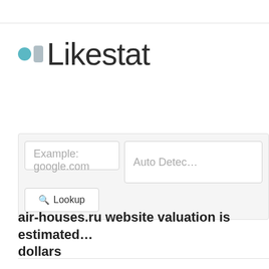[Figure (logo): Likestat logo with teal circle dot, gray rectangle dot, and 'Likestat' text in light gray large font]
Example: google.com
Auto Detec…
Lookup
air-houses.ru website valuation is estimated… dollars
0.00  Rating by L…
air-houses.ru was r… ago. It is a domain l…